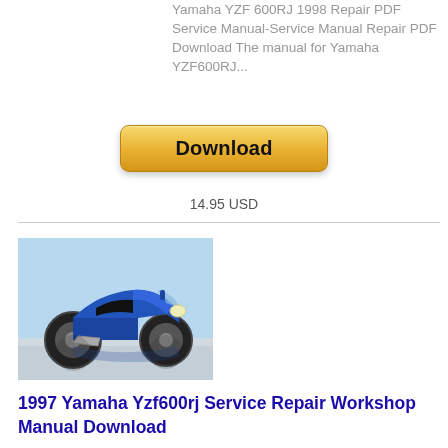Yamaha YZF600RJ 1998 Repair PDF Service Manual-Service Manual Repair PDF Download The manual for Yamaha YZF600RJ...
[Figure (other): Download button with golden/amber gradient styling, labeled 'Download']
14.95 USD
[Figure (photo): Photo of a blue Yamaha YZF600 sport motorcycle against a light blue sky background, with a reflection visible below.]
1997 Yamaha Yzf600rj Service Repair Workshop Manual Download
This is the complete factory service repair manual for the 1997 Yamaha YZF600RJ Service Repair Workshop Manual. This Service Manual...